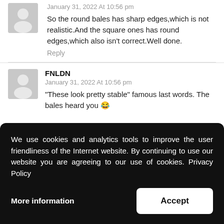January 31, 2022 At 10:56 pm
So the round bales has sharp edges,which is not realistic.And the square ones has round edges,which also isn't correct.Well done.
Reply
FNLDN
January 31, 2022 At 10:56 pm
"These look pretty stable" famous last words. The bales heard you 😂
We use cookies and analytics tools to improve the user friendliness of the Internet website. By continuing to use our website you are agreeing to our use of cookies. Privacy Policy
More information
Accept